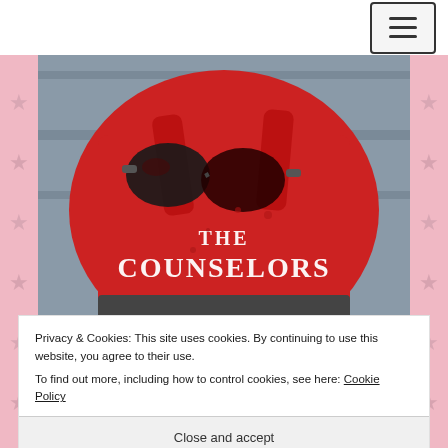[Figure (photo): Book cover for 'The Counselors' showing a red one-piece swimsuit with sunglasses on a wooden background, with the title text in large white serif letters]
Privacy & Cookies: This site uses cookies. By continuing to use this website, you agree to their use.
To find out more, including how to control cookies, see here: Cookie Policy
Close and accept